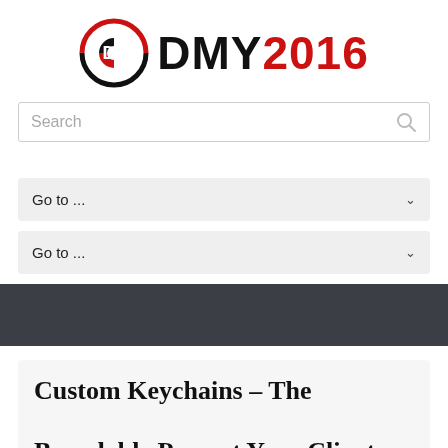[Figure (logo): DMY2016 logo with circular D2 icon in black and red, followed by text DMY in black and 2016 in red]
Search
Go to ...
Go to ...
[Figure (other): Dark gray banner/navigation bar]
Custom Keychains – The Brandable Present Your Clients